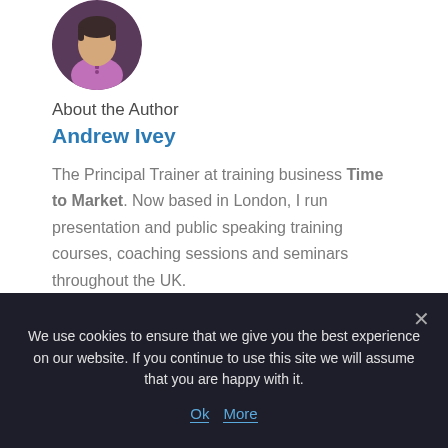[Figure (illustration): Circular avatar of Andrew Ivey — illustrated person with dark hair wearing a pink/mauve shirt, shown from shoulders up, against a dark circular background]
About the Author
Andrew Ivey
The Principal Trainer at training business Time to Market. Now based in London, I run presentation and public speaking training courses, coaching sessions and seminars throughout the UK.
FOLLOW ME
[Figure (illustration): Facebook and Twitter social media icon buttons — circular blue icons with f and bird symbols]
We use cookies to ensure that we give you the best experience on our website. If you continue to use this site we will assume that you are happy with it.